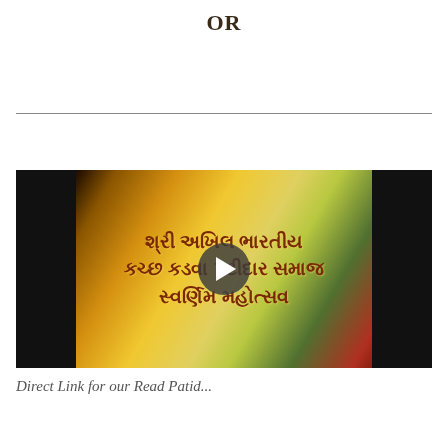OR
[Figure (screenshot): Video thumbnail showing Gujarati text 'Shri Akhil Bharatiya Kachchh Kadva Patidar Samaj Swarnim Mahotsav' on a golden background with a play button overlay]
Direct Link for our Read Patid...